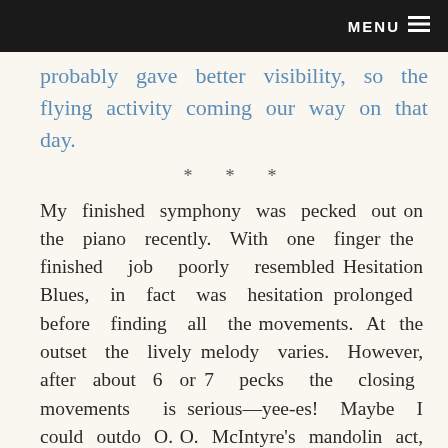MENU ≡
probably gave better visibility, so the flying activity coming our way on that day.
* * *
My finished symphony was pecked out on the piano recently. With one finger the finished job poorly resembled Hesitation Blues, in fact was hesitation prolonged before finding all the movements. At the outset the lively melody varies. However, after about 6 or 7 pecks the closing movements is serious—yee-es! Maybe I could outdo O. O. McIntyre's mandolin act, recalling